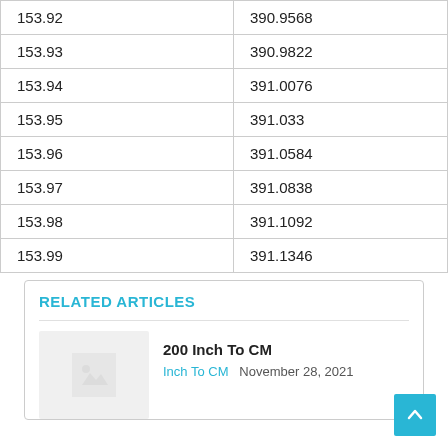| 153.92 | 390.9568 |
| 153.93 | 390.9822 |
| 153.94 | 391.0076 |
| 153.95 | 391.033 |
| 153.96 | 391.0584 |
| 153.97 | 391.0838 |
| 153.98 | 391.1092 |
| 153.99 | 391.1346 |
RELATED ARTICLES
[Figure (photo): Thumbnail placeholder image for 200 Inch To CM article]
200 Inch To CM
Inch To CM   November 28, 2021